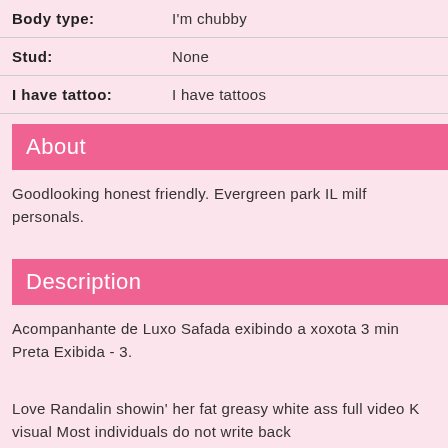| Field | Value |
| --- | --- |
| Body type: | I'm chubby |
| Stud: | None |
| I have tattoo: | I have tattoos |
About
Goodlooking honest friendly. Evergreen park IL milf personals.
Description
Acompanhante de Luxo Safada exibindo a xoxota 3 min Preta Exibida - 3.
Love Randalin showin' her fat greasy white ass full video K visual Most individuals do not write back